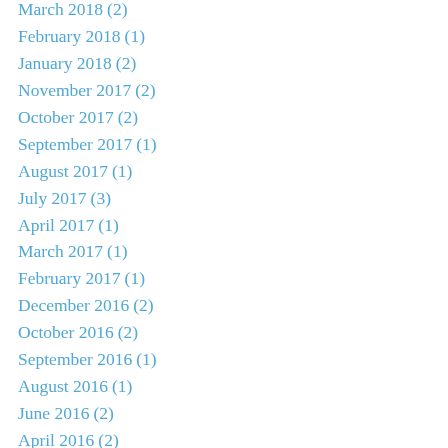March 2018 (2)
February 2018 (1)
January 2018 (2)
November 2017 (2)
October 2017 (2)
September 2017 (1)
August 2017 (1)
July 2017 (3)
April 2017 (1)
March 2017 (1)
February 2017 (1)
December 2016 (2)
October 2016 (2)
September 2016 (1)
August 2016 (1)
June 2016 (2)
April 2016 (2)
March 2016 (1)
February 2016 (5)
January 2016 (2)